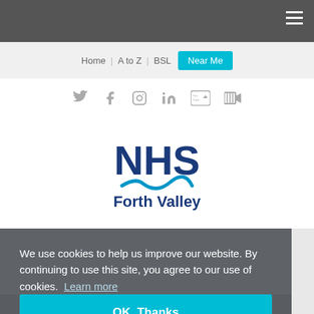NHS Forth Valley website header with hamburger menu
Home | A to Z | BSL  Near Me
[Figure (other): Social media icons: Twitter, Facebook, Instagram, LinkedIn, YouTube, Video]
[Figure (logo): NHS Forth Valley logo with blue NHS text and wave underline]
We use cookies to help us improve our website. By continuing to use this site, you agree to our use of cookies. Learn more
OK, Thanks